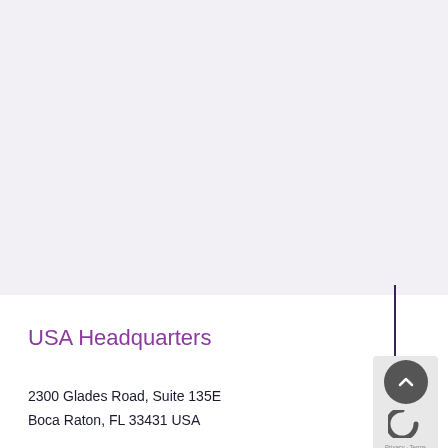USA Headquarters
2300 Glades Road, Suite 135E
Boca Raton, FL 33431 USA